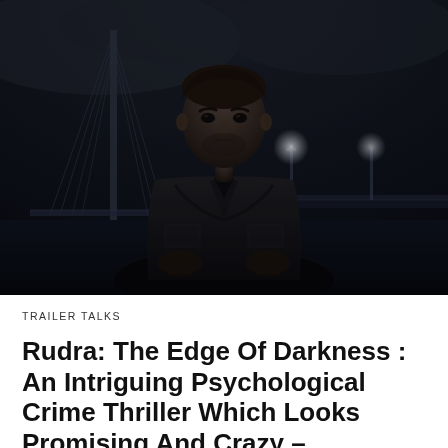[Figure (photo): A dark moody promotional photo of an actor in a black jacket and shirt standing in front of a suspension bridge at night, with street lights visible in the background. The image is largely desaturated with dark blue-grey tones.]
TRAILER TALKS
Rudra: The Edge Of Darkness : An Intriguing Psychological Crime Thriller Which Looks Promising And Crazy –